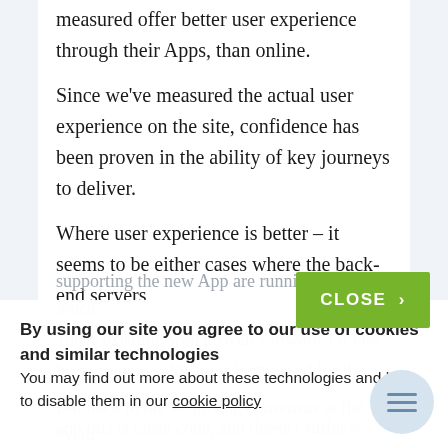On the other hand, some gambling sites we've measured offer better user experience through their Apps, than online.
Since we've measured the actual user experience on the site, confidence has been proven in the ability of key journeys to deliver.
Where user experience is better – it seems to be either cases where the back-end servers
supporting the new App are running pretty much 100% existing, well proven software. Or else because new software is being used for the App, and this is clean code, and doesn't suffer some of the legacy hiccups and limitations that the main website software has.
By using our site you agree to our use of cookies and similar technologies
You may find out more about these technologies and how to disable them in our cookie policy
But back to the surprising consensus at the event: